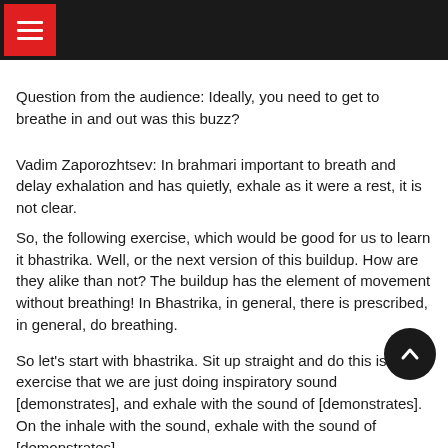≡
Question from the audience: Ideally, you need to get to breathe in and out was this buzz?
Vadim Zaporozhtsev: In brahmari important to breath and delay exhalation and has quietly, exhale as it were a rest, it is not clear.
So, the following exercise, which would be good for us to learn it bhastrika. Well, or the next version of this buildup. How are they alike than not? The buildup has the element of movement without breathing! In Bhastrika, in general, there is prescribed, in general, do breathing.
So let's start with bhastrika. Sit up straight and do this is an exercise that we are just doing inspiratory sound [demonstrates], and exhale with the sound of [demonstrates]. On the inhale with the sound, exhale with the sound of [demonstrates].
[In the hall practicing]
Now do the following thing: make a sharp breath as if kalabhati breath and limiting sound here again exhale and inhale, exhale